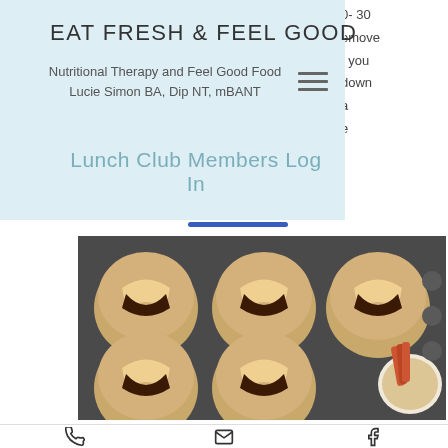EAT FRESH & FEEL GOOD
Nutritional Therapy and Feel Good Food
Lucie Simon BA, Dip NT, mBANT
Lunch Club Members Log In
0- 30 remove , you down a e
[Figure (photo): Muffin tin with baked pastry buns filled with chocolate and brushed with glaze, alongside a silicone pastry brush in a bowl]
Phone | Email | Facebook icons